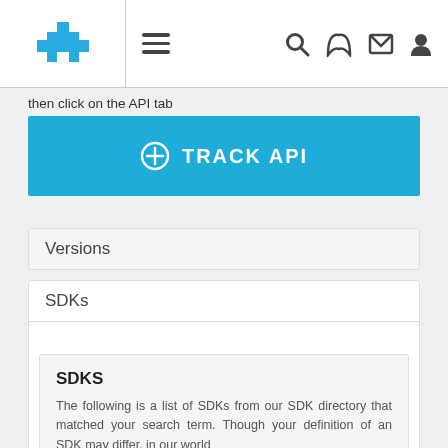then click on the API tab
[Figure (screenshot): Blue TRACK API button with plus circle icon]
Versions
SDKs
SDKS
The following is a list of SDKs from our SDK directory that matched your search term. Though your definition of an SDK may differ, in our world